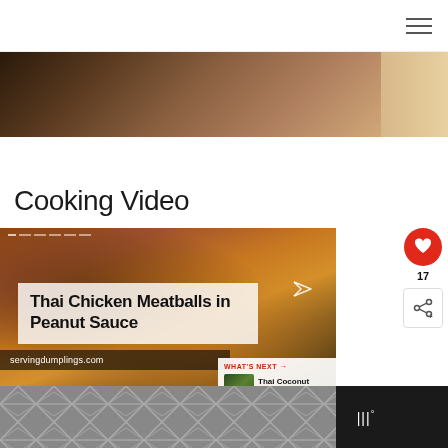≡ (hamburger menu)
[Figure (photo): Hero image strip showing wooden surface/background texture at top of page]
Cooking Video
[Figure (screenshot): Screenshot of a cooking video for 'Thai Chicken Meatballs in Peanut Sauce' from servingdumplings.com. Shows food dish image with overlaid title text, heart/like button (red circle), count of 17, share button, and 'What's Next: Thai Coconut Curry Chick...' card.]
[Figure (photo): Bottom banner with geometric hexagon/chevron pattern in gray on dark background, with logo mark 'III°' at right]